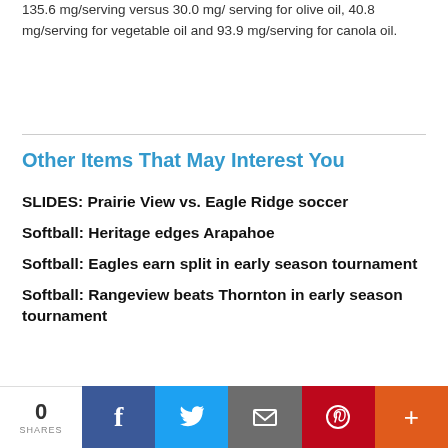135.6 mg/serving versus 30.0 mg/ serving for olive oil, 40.8 mg/serving for vegetable oil and 93.9 mg/serving for canola oil.
Other Items That May Interest You
SLIDES: Prairie View vs. Eagle Ridge soccer
Softball: Heritage edges Arapahoe
Softball: Eagles earn split in early season tournament
Softball: Rangeview beats Thornton in early season tournament
0 SHARES | Facebook | Twitter | Email | Pinterest | More